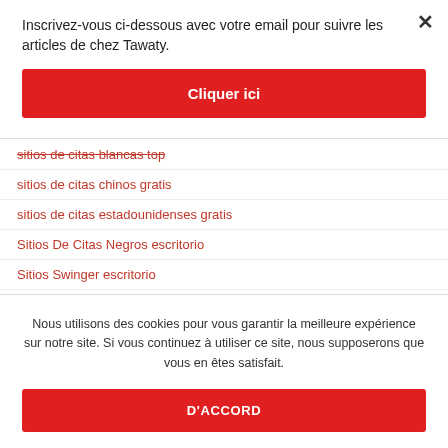Inscrivez-vous ci-dessous avec votre email pour suivre les articles de chez Tawaty.
Cliquer ici
sitios de citas blancas top
sitios de citas chinos gratis
sitios de citas estadounidenses gratis
Sitios De Citas Negros escritorio
Sitios Swinger escritorio
Nous utilisons des cookies pour vous garantir la meilleure expérience sur notre site. Si vous continuez à utiliser ce site, nous supposerons que vous en êtes satisfait.
D'ACCORD